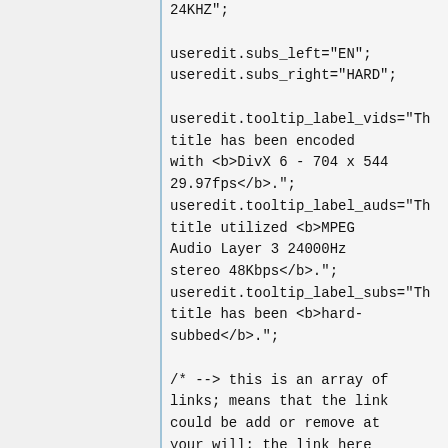24KHZ";

useredit.subs_left="EN";
useredit.subs_right="HARD";

useredit.tooltip_label_vids="Th title has been encoded with <b>DivX 6 - 704 x 544 29.97fps</b>.";
useredit.tooltip_label_auds="Th title utilized <b>MPEG Audio Layer 3 24000Hz stereo 48Kbps</b>.";
useredit.tooltip_label_subs="Th title has been <b>hard-subbed</b>.";

/* --> this is an array of links; means that the link could be add or remove at your will; the link here would be dynamically